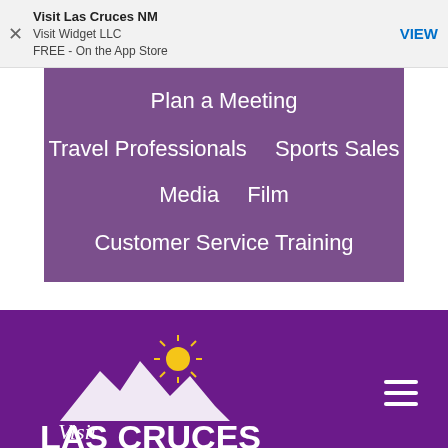Visit Las Cruces NM | Visit Widget LLC | FREE - On the App Store | VIEW
Plan a Meeting
Travel Professionals
Sports Sales
Media
Film
Customer Service Training
[Figure (logo): Visit Las Cruces New Mexico logo with mountain silhouette and sun, white text on purple background]
[Figure (photo): Purple-tinted photo strip at bottom of page]